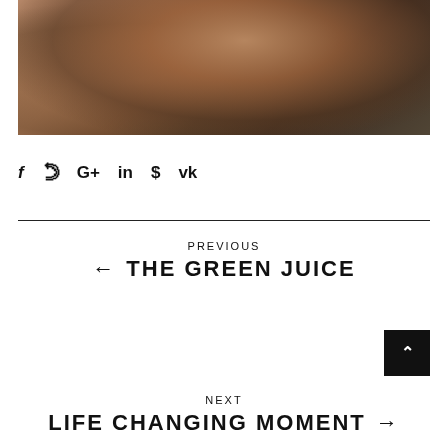[Figure (photo): Cropped photo of a person wearing a teal bikini bottom, crouching or leaning forward, with tanned skin and dark background — only the torso and upper legs visible.]
f  ❧  G+ in  ⊕  vk
PREVIOUS
← THE GREEN JUICE
[Figure (other): Black square button with a white upward-pointing caret/chevron arrow, used as a scroll-to-top button.]
NEXT
LIFE CHANGING MOMENT →